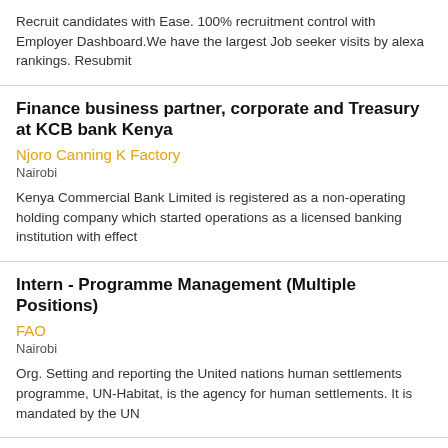Recruit candidates with Ease. 100% recruitment control with Employer Dashboard.We have the largest Job seeker visits by alexa rankings. Resubmit
Finance business partner, corporate and Treasury at KCB bank Kenya
Njoro Canning K Factory
Nairobi
Kenya Commercial Bank Limited is registered as a non-operating holding company which started operations as a licensed banking institution with effect
Intern - Programme Management (Multiple Positions)
FAO
Nairobi
Org. Setting and reporting the United nations human settlements programme, UN-Habitat, is the agency for human settlements. It is mandated by the UN
People & Culture Manager Talent Management At Strathmore University
Hmore University
Nairobi
Duties & Responsibilities Talent Management In collaboration with the Head of Departments, develop and review the manpower planning strategy;